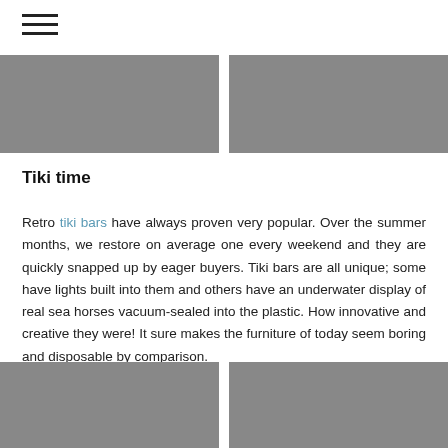[Figure (photo): Two photos side by side at top: left shows red/coral colored furniture pieces, right shows teal/green and orange colored items]
Tiki time
Retro tiki bars have always proven very popular. Over the summer months, we restore on average one every weekend and they are quickly snapped up by eager buyers. Tiki bars are all unique; some have lights built into them and others have an underwater display of real sea horses vacuum-sealed into the plastic. How innovative and creative they were! It sure makes the furniture of today seem boring and disposable by comparison.
[Figure (photo): Two photos side by side at bottom: left shows purple/violet furniture with metal details, right shows green/mossy textured items with light colored elements]